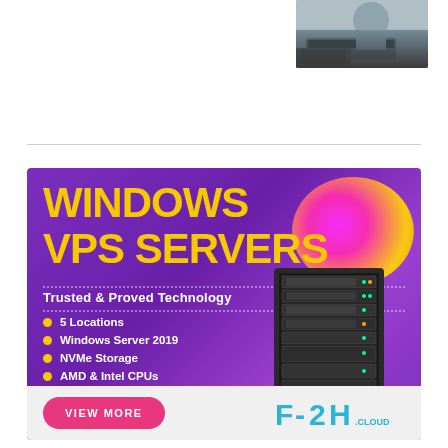[Figure (photo): Partial photo of a person using a laptop/keyboard, positioned in top right corner]
[Figure (infographic): Advertisement banner for F2H.cloud Windows VPS Servers. Purple background with yellow bold text 'WINDOWS VPS SERVERS', subtitle 'Trusted & Proved Technology', bullet points listing: 5 Locations, Windows Server 2019, NVMe Storage, AMD & Intel CPUs. Pink/yellow blob shape and server rack image on right. Bottom bar with pink 'VIEW MORE' button and F2H.cloud logo.]